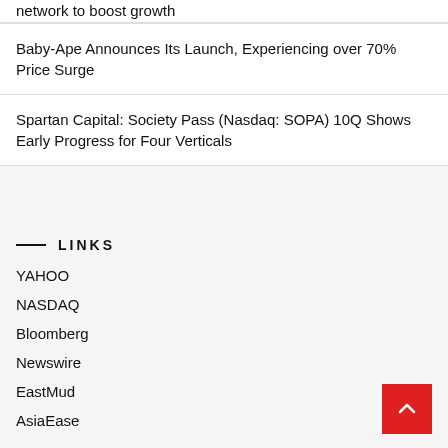network to boost growth
Baby-Ape Announces Its Launch, Experiencing over 70% Price Surge
Spartan Capital: Society Pass (Nasdaq: SOPA) 10Q Shows Early Progress for Four Verticals
LINKS
YAHOO
NASDAQ
Bloomberg
Newswire
EastMud
AsiaEase